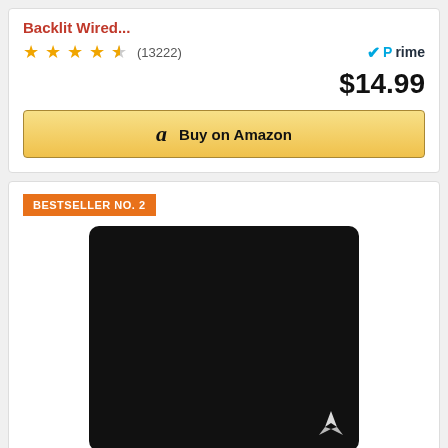Backlit Wired...
★★★★½ (13222)
Prime
$14.99
Buy on Amazon
BESTSELLER NO. 2
[Figure (photo): Black gaming mouse pad with Corsair logo in bottom right corner]
Corsair MM300 PRO Premium Spill-Proof...